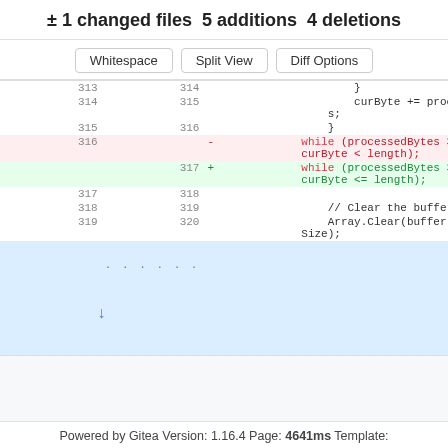± 1 changed files 5 additions 4 deletions
Whitespace  Split View  Diff Options
[Figure (screenshot): Git diff view showing code changes in a file around lines 313-320. Line 316 is deleted (red): while (processedBytes > 0 && curByte < length); Line 317 is added (green): while (processedBytes > 0 && curByte <= length); Other lines show context including curByte += processedBytes; closing braces, blank line, // Clear the buffer comment, and Array.Clear(buffer, 0, chunkSize); An expand button at the bottom.]
Powered by Gitea Version: 1.16.4 Page: 4641ms Template: